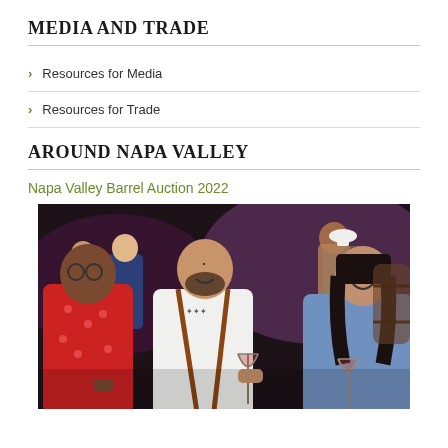MEDIA AND TRADE
Resources for Media
Resources for Trade
AROUND NAPA VALLEY
Napa Valley Barrel Auction 2022
[Figure (photo): People socializing at the Napa Valley Barrel Auction 2022 event. A man in a white shirt with tattoos and glasses holds a glass of red wine and smiles, flanked by a man in a red polka-dot shirt on the left and a woman in a blue shirt on the right. Background shows more guests and wine barrels.]